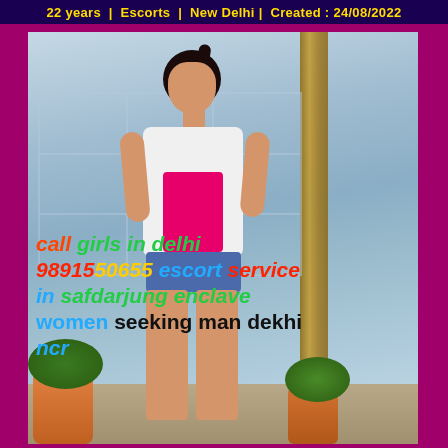22 years | Escorts | New Delhi | Created : 24/08/2022
[Figure (photo): Young woman with ponytail wearing white t-shirt and denim shorts, standing outdoors on a balcony with plants. Overlaid colorful text advertising escort services in Delhi.]